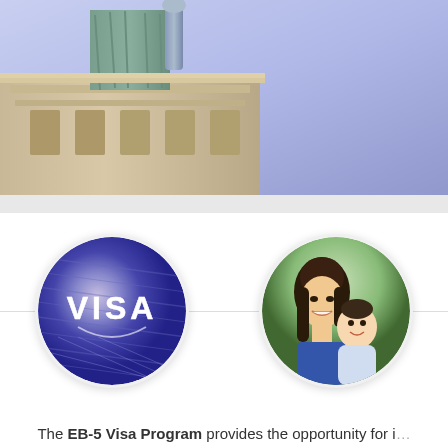[Figure (photo): Hero image showing the base and torch of the Statue of Liberty against a blue-purple sky background]
[Figure (photo): Two circular photos side by side: left circle shows a close-up of a blue VISA stamp/seal on a passport; right circle shows a smiling Asian woman holding a baby]
The EB-5 Visa Program provides the opportunity for i... a path to residency in exchange for helping to...